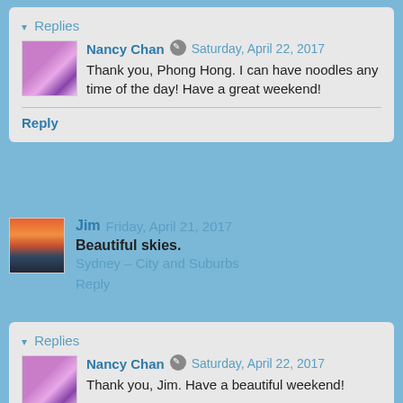▾ Replies
Nancy Chan  Saturday, April 22, 2017
Thank you, Phong Hong. I can have noodles any time of the day! Have a great weekend!
Reply
Jim  Friday, April 21, 2017
Beautiful skies.
Sydney – City and Suburbs
Reply
▾ Replies
Nancy Chan  Saturday, April 22, 2017
Thank you, Jim. Have a beautiful weekend!